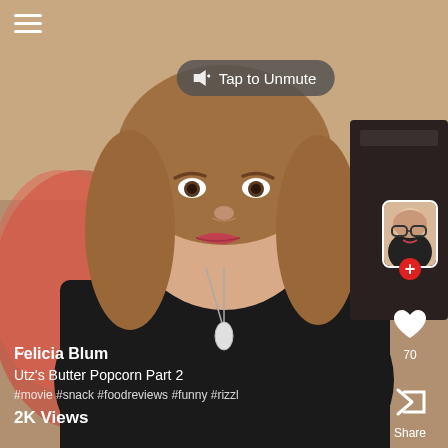[Figure (screenshot): TikTok/Rizzl video screenshot showing a woman with brown curly hair wearing black top with pendant necklace, making an expressive face. App UI overlaid with hamburger menu top-left, 'Tap to Unmute' button, right sidebar with avatar/follow button, heart/like (70), Share, Respond icons, and bottom bar with username, title, hashtags, views.]
Tap to Unmute
Felicia Blum
Utz's Butter Popcorn Part 2
#movie #snack #foodreviews #funny #rizzl
2K Views
70
Share
Respond